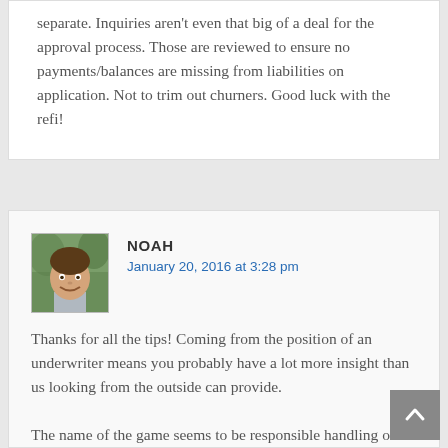separate. Inquiries aren't even that big of a deal for the approval process. Those are reviewed to ensure no payments/balances are missing from liabilities on application. Not to trim out churners. Good luck with the refi!
NOAH
January 20, 2016 at 3:28 pm
[Figure (photo): Avatar photo of Noah, a young man smiling, with green foliage in the background]
Thanks for all the tips! Coming from the position of an underwriter means you probably have a lot more insight than us looking from the outside can provide.
The name of the game seems to be responsible handling of your lines of